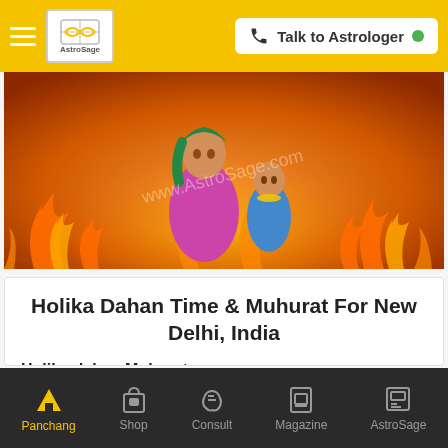AstroSage — Talk to Astrologer
[Figure (illustration): Illustration of Holika Dahan scene: Holika (female figure in pink saree with green hair) holding Prahlad (young boy with blue dhoti and yellow necklace) surrounded by orange flames on a dark orange background. Watermark 'www.AstroSage.com' overlaid.]
Holika Dahan Time & Muhurat For New Delhi, India
Holika dahan Muhurat :
21:20:55 to 22:31:09
Duration :
Panchang  Shop  Consult  Magazine  AstroSage